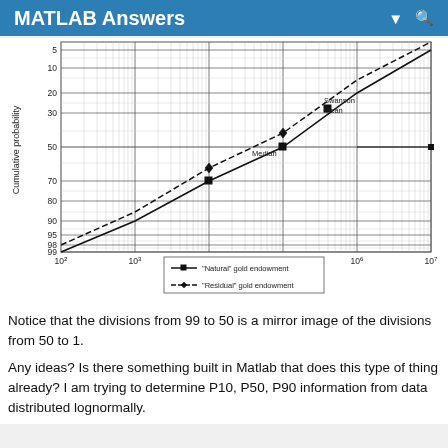MATLAB Answers
[Figure (continuous-plot): Log-probability plot of cumulative probability vs contained gold ounces. Y-axis shows cumulative probability (5, 10, 20, 30, 50, 70, 80, 90, 95, 98, 99). X-axis shows contained gold ounces on log scale (10^2 to 10^7). Two lines plotted: solid line with square markers for 'Natural' gold endowment and dashed line with diamond markers for 'Residual' gold endowment. Labels indicate 'Swanson Mean' and 'Median' on the chart.]
Notice that the divisions from 99 to 50 is a mirror image of the divisions from 50 to 1.
Any ideas? Is there something built in Matlab that does this type of thing already? I am trying to determine P10, P50, P90 information from data distributed lognormally.